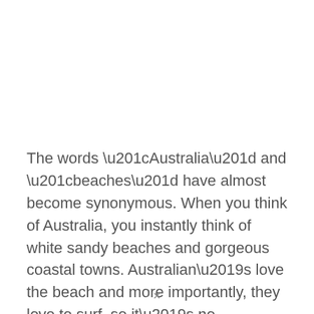The words “Australia” and “beaches” have almost become synonymous. When you think of Australia, you instantly think of white sandy beaches and gorgeous coastal towns. Australian’s love the beach and more importantly, they love to surf, so it’s no